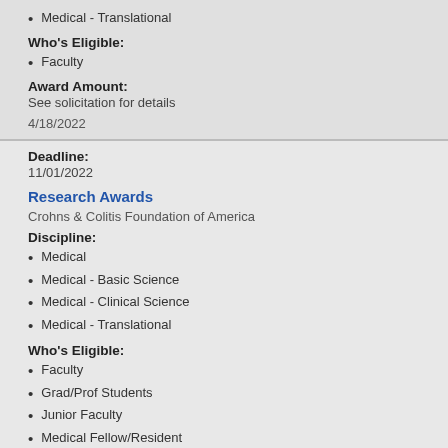Medical - Translational
Who's Eligible:
Faculty
Award Amount:
See solicitation for details
4/18/2022
Deadline:
11/01/2022
Research Awards
Crohns & Colitis Foundation of America
Discipline:
Medical
Medical - Basic Science
Medical - Clinical Science
Medical - Translational
Who's Eligible:
Faculty
Grad/Prof Students
Junior Faculty
Medical Fellow/Resident
Post Doctoral Fellows
Award Amount: